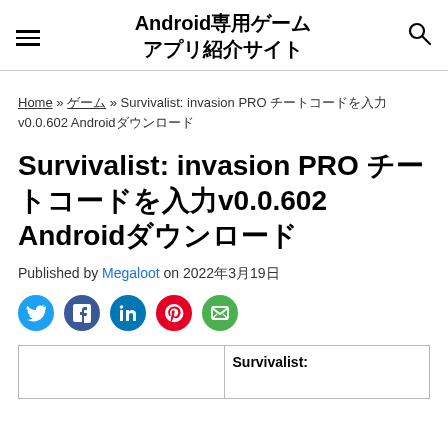Android専用ゲームアプリ紹介サイト
Home » ゲーム » Survivalist: invasion PRO チートコードを入力v0.0.602 Androidダウンロード
Survivalist: invasion PRO チートコードを入力v0.0.602 Androidダウンロード
Published by Megaloot on 2022年3月19日
[Figure (other): Social sharing icons: Twitter, Facebook, LinkedIn, Pinterest, Email]
|  | Survivalist: |
| --- | --- |